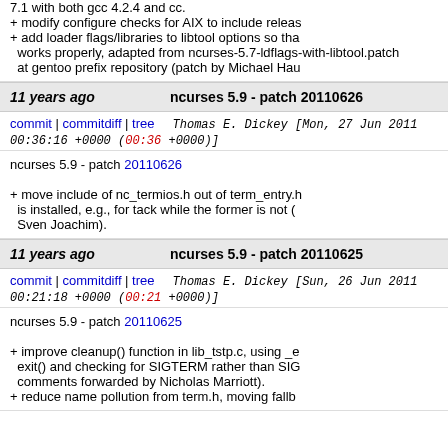7.1 with both gcc 4.2.4 and cc.
+ modify configure checks for AIX to include releas
+ add loader flags/libraries to libtool options so tha
  works properly, adapted from ncurses-5.7-ldflags-with-libtool.patch
  at gentoo prefix repository (patch by Michael Hau
11 years ago   ncurses 5.9 - patch 20110626
commit | commitdiff | tree   Thomas E. Dickey [Mon, 27 Jun 2011 00:36:16 +0000 (00:36 +0000)]
ncurses 5.9 - patch 20110626
+ move include of nc_termios.h out of term_entry.h
  is installed, e.g., for tack while the former is not (
  Sven Joachim).
11 years ago   ncurses 5.9 - patch 20110625
commit | commitdiff | tree   Thomas E. Dickey [Sun, 26 Jun 2011 00:21:18 +0000 (00:21 +0000)]
ncurses 5.9 - patch 20110625
+ improve cleanup() function in lib_tstp.c, using _e
  exit() and checking for SIGTERM rather than SIG
  comments forwarded by Nicholas Marriott).
+ reduce name pollution from term.h, moving fallb